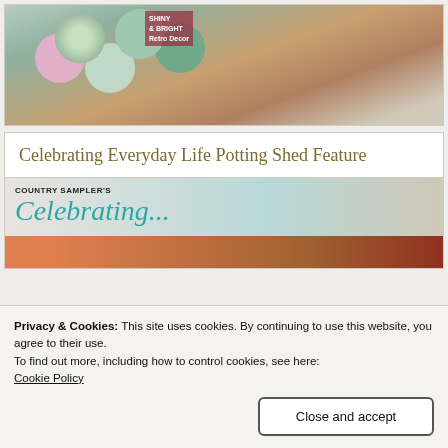[Figure (photo): Christmas ornaments including striped and teal glass balls with artificial snow, and a SHINY & BRIGHT Retro Decor magazine cover visible in background]
Celebrating Everyday Life Potting Shed Feature
[Figure (photo): Country Sampler's Celebrating magazine cover showing script title text in teal color]
Privacy & Cookies: This site uses cookies. By continuing to use this website, you agree to their use.
To find out more, including how to control cookies, see here:
Cookie Policy
Close and accept